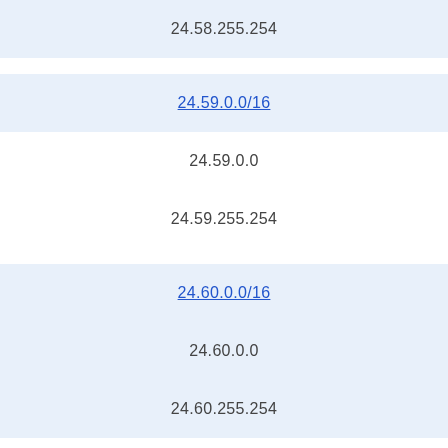24.58.255.254
24.59.0.0/16
24.59.0.0
24.59.255.254
24.60.0.0/16
24.60.0.0
24.60.255.254
24.61.0.0/16
24.61.0.0